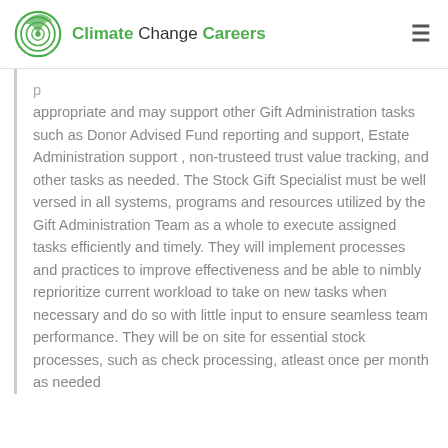Climate Change Careers
appropriate and may support other Gift Administration tasks such as Donor Advised Fund reporting and support, Estate Administration support , non-trusteed trust value tracking, and other tasks as needed. The Stock Gift Specialist must be well versed in all systems, programs and resources utilized by the Gift Administration Team as a whole to execute assigned tasks efficiently and timely. They will implement processes and practices to improve effectiveness and be able to nimbly reprioritize current workload to take on new tasks when necessary and do so with little input to ensure seamless team performance. They will be on site for essential stock processes, such as check processing, atleast once per month as needed